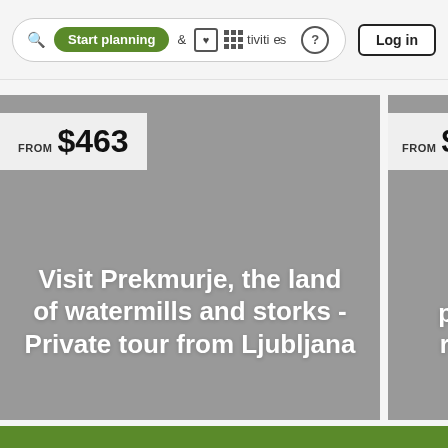Start planning & Activities Log in
[Figure (screenshot): Travel tour card showing 'FROM $463 — Visit Prekmurje, the land of watermills and storks - Private tour from Ljubljana' on a grey background]
[Figure (screenshot): Partially visible travel tour card showing 'FROM $468 — Explore preserved region fro...' on a grey background]